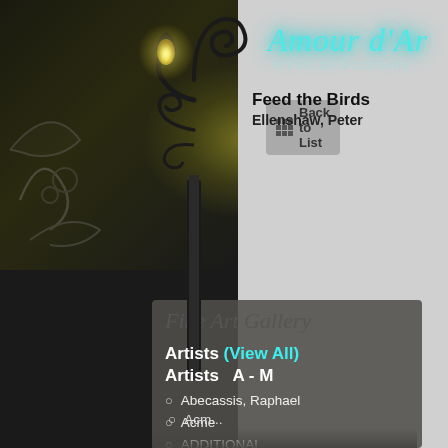[Figure (screenshot): Website header showing 'Amour d'Ar' logo with cyan glowing italic text on dark background with decorative swirls, a wrought-iron street lamp post with glowing yellow bulb, and 'Art for all Occasions' subtitle]
Fine Art Gallery
Back to List
Feed the Birds
Ellenshaw, Peter
Artists (View All)
Artists   A - M
Abecassis, Raphael
Acme
ADDITIONAL SHIPPING CHARGES
Afremov, Leonid 1955-2019